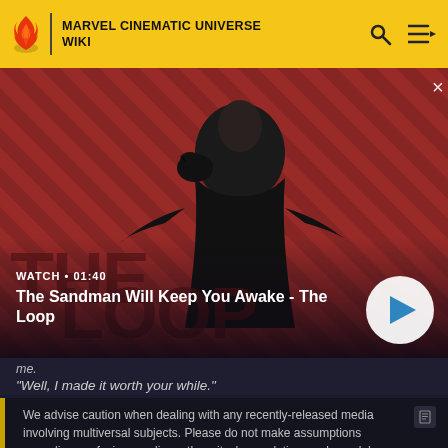MARVEL CINEMATIC UNIVERSE WIKI
[Figure (screenshot): Video thumbnail showing a dark-cloaked figure with a crow on shoulder against a red diagonal-striped background. Video title: The Sandman Will Keep You Awake - The Loop. Duration: 01:40. Play button overlay visible.]
me.
"Well, I made it worth your while."
We advise caution when dealing with any recently-released media involving multiversal subjects. Please do not make assumptions regarding confusing wording, other sites' speculation, and people's headcanon around the internet.